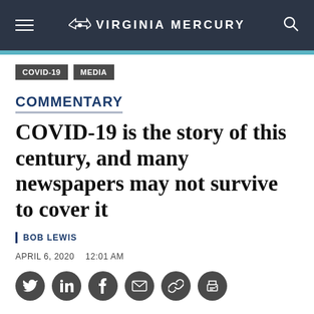VIRGINIA MERCURY
COVID-19
MEDIA
COMMENTARY
COVID-19 is the story of this century, and many newspapers may not survive to cover it
BOB LEWIS
APRIL 6, 2020   12:01 AM
[Figure (other): Social sharing icons: Twitter, LinkedIn, Facebook, Email, Link, Print]